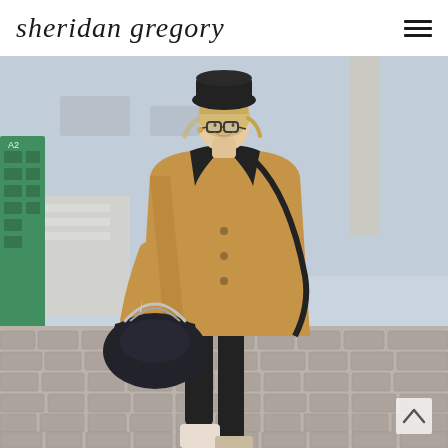sheridan gregory
[Figure (photo): A blonde woman wearing glasses, a black wide-brim hat, a camel/tan wool coat, black leggings, and carrying a black structured handbag with chain handles, walking on a cobblestone street with a green structure and crosswalk in the background.]